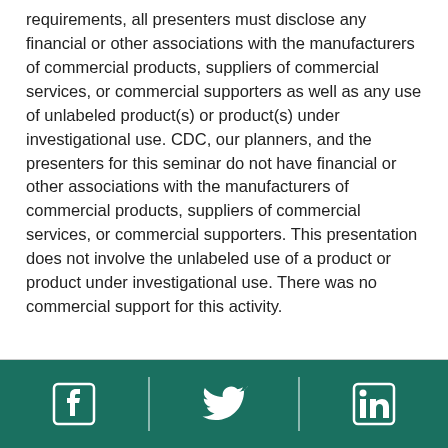requirements, all presenters must disclose any financial or other associations with the manufacturers of commercial products, suppliers of commercial services, or commercial supporters as well as any use of unlabeled product(s) or product(s) under investigational use. CDC, our planners, and the presenters for this seminar do not have financial or other associations with the manufacturers of commercial products, suppliers of commercial services, or commercial supporters. This presentation does not involve the unlabeled use of a product or product under investigational use. There was no commercial support for this activity.
[Facebook icon] [Twitter icon] [LinkedIn icon]